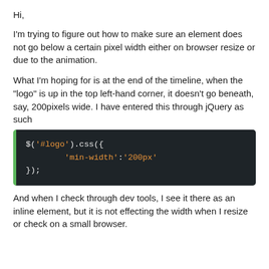Hi,
I'm trying to figure out how to make sure an element does not go below a certain pixel width either on browser resize or due to the animation.
What I'm hoping for is at the end of the timeline, when the "logo" is up in the top left-hand corner, it doesn't go beneath, say, 200pixels wide. I have entered this through jQuery as such
$('#logo').css({
        'min-width':'200px'
});
And when I check through dev tools, I see it there as an inline element, but it is not effecting the width when I resize or check on a small browser.